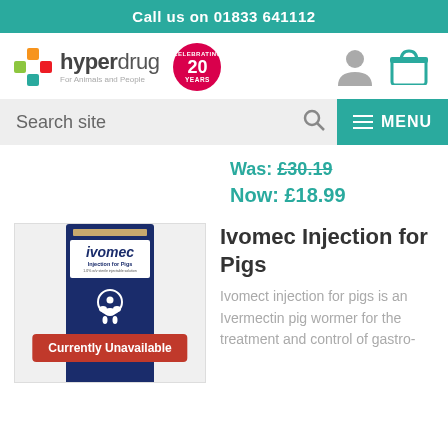Call us on 01833 641112
[Figure (logo): Hyperdrug logo with cross icon and '20 Years Celebrating' badge, user and cart icons]
Search site
Was: £30.19
Now: £18.99
[Figure (photo): Ivomec Injection for Pigs product box with 'Currently Unavailable' red badge overlay]
Ivomec Injection for Pigs
Ivomect injection for pigs is an Ivermectin pig wormer for the treatment and control of gastro-